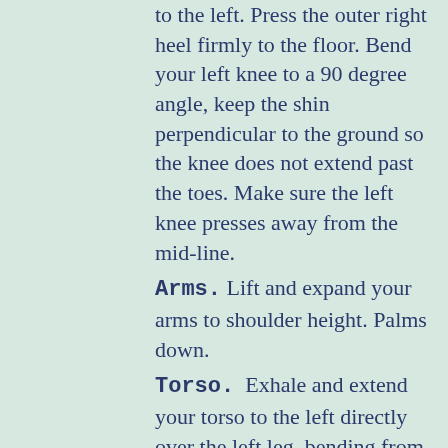to the left. Press the outer right heel firmly to the floor. Bend your left knee to a 90 degree angle, keep the shin perpendicular to the ground so the knee does not extend past the toes. Make sure the left knee presses away from the mid-line.
Arms. Lift and expand your arms to shoulder height. Palms down.
Torso. Exhale and extend your torso to the left directly over the left leg, bending from the left hip joint, not the waist. Anchor this movement by strengthening the right leg. Rotate the torso to the right, keeping the two sides of the torso equally long. Let the left hip fold and lengthen the tailbone toward the back heel. Rest your left forearm on your left thigh.